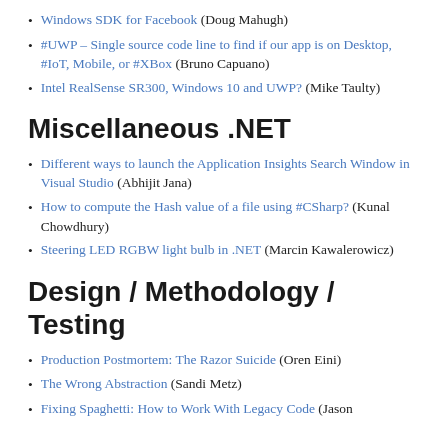Windows SDK for Facebook (Doug Mahugh)
#UWP – Single source code line to find if our app is on Desktop, #IoT, Mobile, or #XBox (Bruno Capuano)
Intel RealSense SR300, Windows 10 and UWP? (Mike Taulty)
Miscellaneous .NET
Different ways to launch the Application Insights Search Window in Visual Studio (Abhijit Jana)
How to compute the Hash value of a file using #CSharp? (Kunal Chowdhury)
Steering LED RGBW light bulb in .NET (Marcin Kawalerowicz)
Design / Methodology / Testing
Production Postmortem: The Razor Suicide (Oren Eini)
The Wrong Abstraction (Sandi Metz)
Fixing Spaghetti: How to Work With Legacy Code (Jason